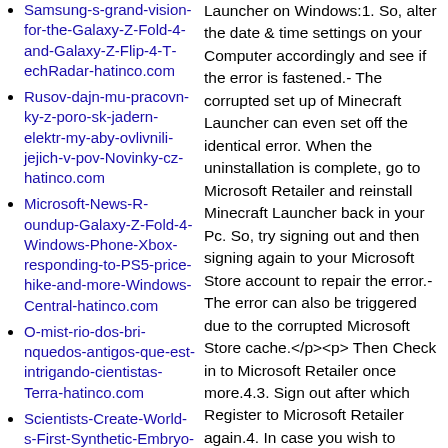Samsung-s-grand-vision-for-the-Galaxy-Z-Fold-4-and-Galaxy-Z-Flip-4-TechRadar-hatinco.com
Rusov-dajn-mu-pracovn-ky-z-poro-sk-jadern-elektr-my-aby-ovlivnili-jejich-v-pov-Novinky-cz-hatinco.com
Microsoft-News-Roundup-Galaxy-Z-Fold-4-Windows-Phone-Xbox-responding-to-PS5-price-hike-and-more-Windows-Central-hatinco.com
O-mist-rio-dos-brinquedos-antigos-que-est-intrigando-cientistas-Terra-hatinco.com
Scientists-Create-World-s-First-Synthetic-Embryo-With-Brain-Beating-Heart-Report-NDTV-hatinco.com
Dugongs-Forscher-erkl-ren-Seek-he-in-China-f-r-aus
Launcher on Windows:1. So, alter the date & time settings on your Computer accordingly and see if the error is fastened.- The corrupted set up of Minecraft Launcher can even set off the identical error. When the uninstallation is complete, go to Microsoft Retailer and reinstall Minecraft Launcher back in your Pc. So, try signing out and then signing again to your Microsoft Store account to repair the error.- The error can also be triggered due to the corrupted Microsoft Store cache.</p><p> Then Check in to Microsoft Retailer once more.4.3. Sign out after which Register to Microsoft Retailer again.4. In case you wish to become roaring in recreation and need to earn handsome quantity of money from it then Mine-crafting is that the sector for you. https://minecraft-servers.biz/events/ 's a 3D world the place players use cubes to build no matter they need to protect themselves from night monsters or just design cool buildings and buildings for fun. The title is